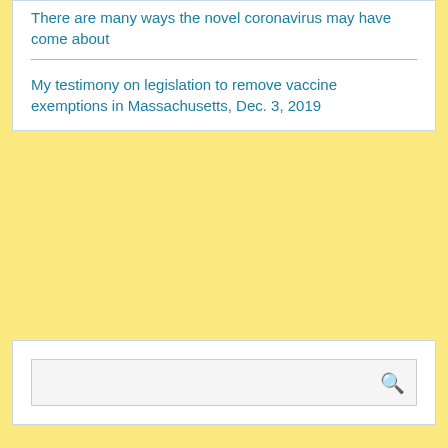There are many ways the novel coronavirus may have come about
My testimony on legislation to remove vaccine exemptions in Massachusetts, Dec. 3, 2019
[Figure (other): Search input box with magnifying glass icon]
TOPICS
Censorship Tactics
Covid Frauds and Hoaxes
Covid Origins
Covid Statistics
Covid Tests
Covid Treatments